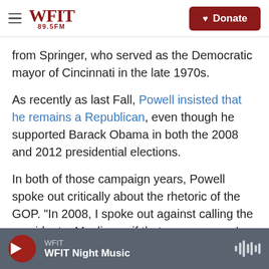WFIT 89.5FM — Donate
from Springer, who served as the Democratic mayor of Cincinnati in the late 1970s.
As recently as last Fall, Powell insisted that he remains a Republican, even though he supported Barack Obama in both the 2008 and 2012 presidential elections.
In both of those campaign years, Powell spoke out critically about the rhetoric of the GOP. "In 2008, I spoke out against calling the president a Muslim as if that was a curse. I don't know anything in the Constitution that says Muslims are bad," Powell
WFIT — WFIT Night Music